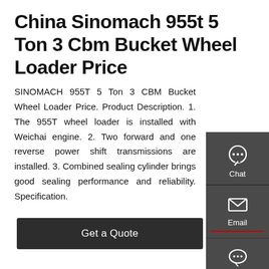China Sinomach 955t 5 Ton 3 Cbm Bucket Wheel Loader Price
SINOMACH 955T 5 Ton 3 CBM Bucket Wheel Loader Price. Product Description. 1. The 955T wheel loader is installed with Weichai engine. 2. Two forward and one reverse power shift transmissions are installed. 3. Combined sealing cylinder brings good sealing performance and reliability. Specification.
[Figure (other): Right sidebar with Chat, Email, and Contact icons on dark grey background]
Get a Quote